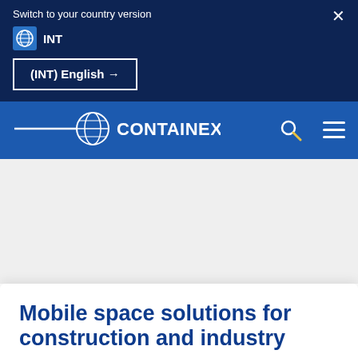Switch to your country version
× (close button)
INT
(INT) English →
[Figure (logo): CONTAINEX logo with globe icon and horizontal swoosh line on blue navigation bar]
Mobile space solutions for construction and industry